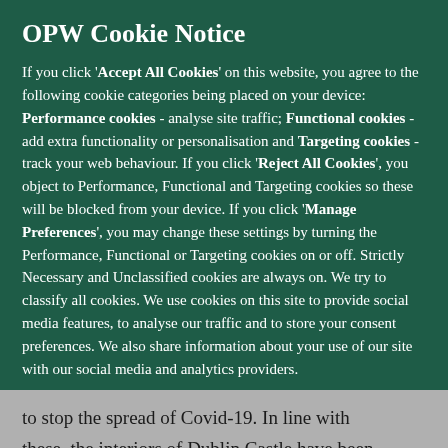OPW Cookie Notice
If you click 'Accept All Cookies' on this website, you agree to the following cookie categories being placed on your device: Performance cookies - analyse site traffic; Functional cookies - add extra functionality or personalisation and Targeting cookies - track your web behaviour. If you click 'Reject All Cookies', you object to Performance, Functional and Targeting cookies so these will be blocked from your device. If you click 'Manage Preferences', you may change these settings by turning the Performance, Functional or Targeting cookies on or off. Strictly Necessary and Unclassified cookies are always on. We try to classify all cookies. We use cookies on this site to provide social media features, to analyse our traffic and to store your consent preferences. We also share information about your use of our site with our social media and analytics providers.
More information
to stop the spread of Covid-19. In line with these, the interiors of Dublin Castle have been